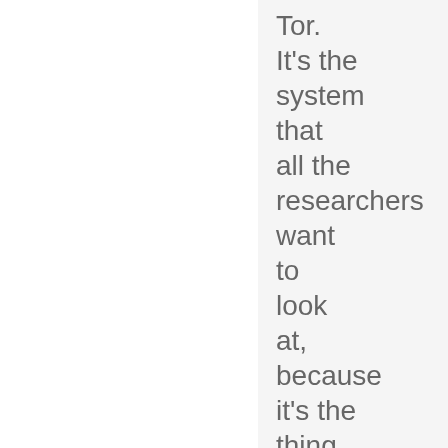Tor. It's the system that all the researchers want to look at, because it's the thing to beat